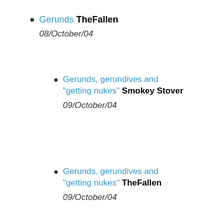Gerunds TheFallen 08/October/04
Gerunds, gerundives and "getting nukes" Smokey Stover 09/October/04
Gerunds, gerundives and "getting nukes" TheFallen 09/October/04